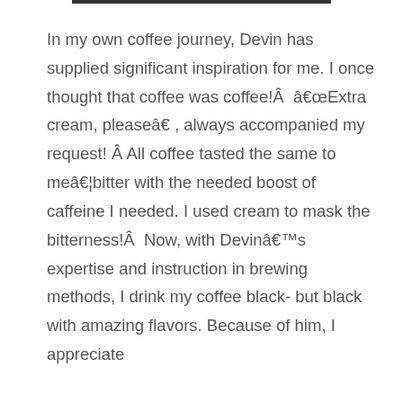In my own coffee journey, Devin has supplied significant inspiration for me. I once thought that coffee was coffee!Â  â€œExtra cream, pleaseâ€ , always accompanied my request! Â All coffee tasted the same to meâ€¦bitter with the needed boost of caffeine I needed. I used cream to mask the bitterness!Â  Now, with Devinâ€™s expertise and instruction in brewing methods, I drink my coffee black- but black with amazing flavors. Because of him, I appreciate